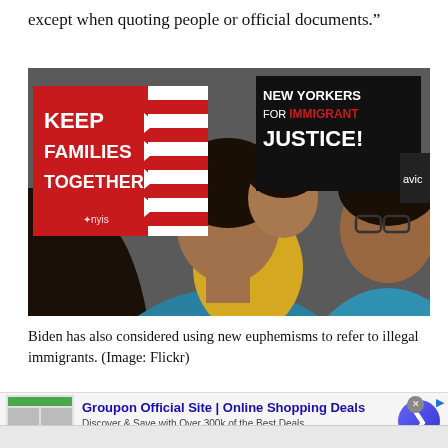except when quoting people or official documents.”
[Figure (photo): Photo of protesters at an immigration rally. A woman holds a child while standing in front of signs reading 'Keep Families Together' (red sign with white stripes) and 'New Yorkers for Immigrant Justice!' (black sign). A woman with glasses is visible on the right.]
Biden has also considered using new euphemisms to refer to illegal immigrants. (Image: Flickr)
[Figure (screenshot): Advertisement for Groupon Official Site | Online Shopping Deals. Discover & Save with Over 300k of the Best Deals. www.groupon.com. Features a blue arrow button on the right.]